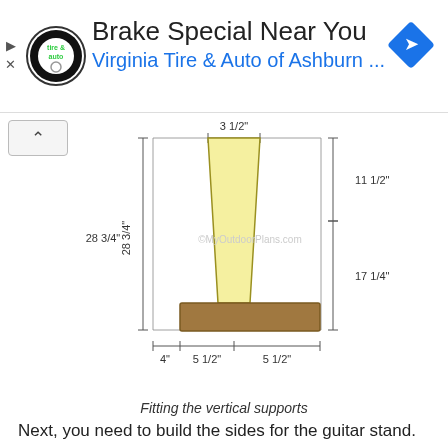[Figure (screenshot): Advertisement banner for Virginia Tire & Auto of Ashburn brake special]
[Figure (engineering-diagram): Technical drawing of a vertical guitar stand support with labeled dimensions: 3 1/2" top width, 11 1/2" upper height, 17 1/4" lower height, 28 3/4" total height, 4" base left offset, 5 1/2" base center, 5 1/2" base right. Watermark: MyOutdoorPlans.com]
Fitting the vertical supports
Next, you need to build the sides for the guitar stand. You can either use 1×4 slats or build decorative sides out of